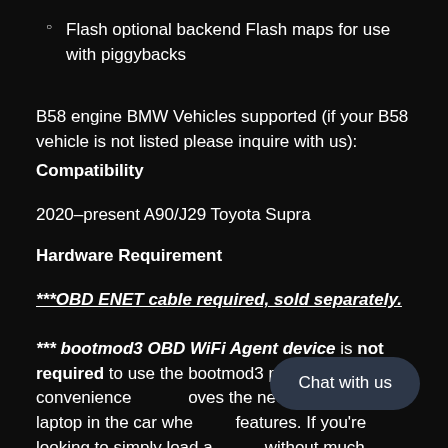Flash optional backend Flash maps for use with piggybacks
B58 engine BMW Vehicles supported (if your B58 vehicle is not listed please inquire with us):
Compatibility
2020–present A90/J29 Toyota Supra
Hardware Requirement
***OBD ENET cable required, sold separately.
*** bootmod3 OBD WiFi Agent device is not required to use the bootmod3 platform. It is a convenience [...]oves the need for using a laptop in the car whe[...] features. If you're looking to simply load a [...] without much datalogging and monitoring then using your laptop is the ticket for...